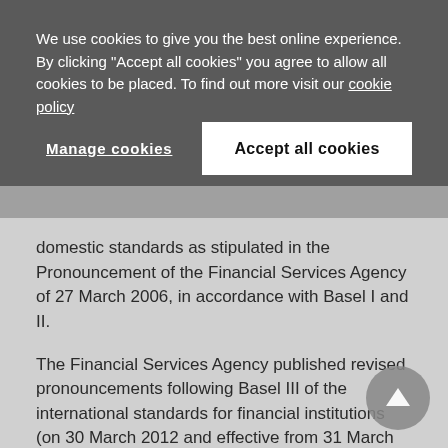We use cookies to give you the best online experience. By clicking "Accept all cookies" you agree to allow all cookies to be placed. To find out more visit our cookie policy
Manage cookies
Accept all cookies
domestic standards as stipulated in the Pronouncement of the Financial Services Agency of 27 March 2006, in accordance with Basel I and II.
The Financial Services Agency published revised pronouncements following Basel III of the international standards for financial institutions (on 30 March 2012 and effective from 31 March 2013), and of the domestic standards for financial institutions (on 8 March